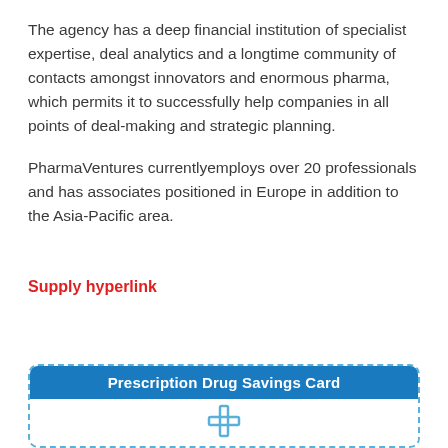The agency has a deep financial institution of specialist expertise, deal analytics and a longtime community of contacts amongst innovators and enormous pharma, which permits it to successfully help companies in all points of deal-making and strategic planning.
PharmaVentures currentlyemploys over 20 professionals and has associates positioned in Europe in addition to the Asia-Pacific area.
Supply hyperlink
[Figure (other): Prescription Drug Savings Card with blue header and a cross/plus icon below]